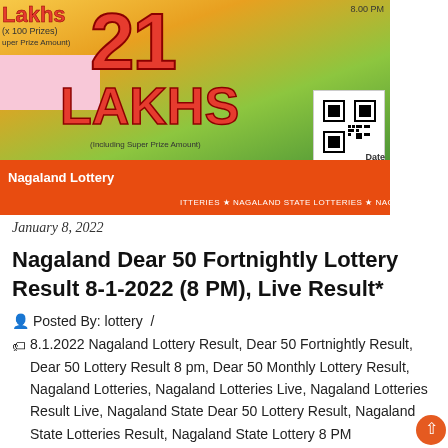[Figure (photo): Nagaland Lottery ticket image showing '21 LAKHS' in large red text on colorful background with orange banner at bottom reading 'Nagaland Lottery' and 'NAGALAND STATE LOTTERIES' scrolling text]
January 8, 2022
Nagaland Dear 50 Fortnightly Lottery Result 8-1-2022 (8 PM), Live Result*
Posted By: lottery /
8.1.2022 Nagaland Lottery Result, Dear 50 Fortnightly Result, Dear 50 Lottery Result 8 pm, Dear 50 Monthly Lottery Result, Nagaland Lotteries, Nagaland Lotteries Live, Nagaland Lotteries Result Live, Nagaland State Dear 50 Lottery Result, Nagaland State Lotteries Result, Nagaland State Lottery 8 PM